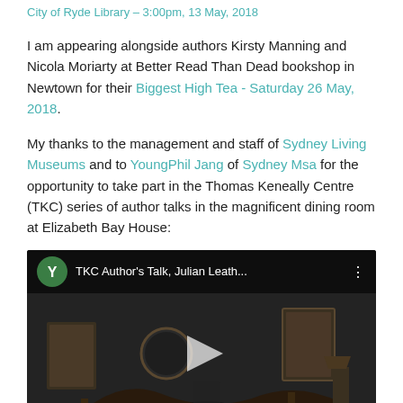City of Ryde Library – 3:00pm, 13 May, 2018
I am appearing alongside authors Kirsty Manning and Nicola Moriarty at Better Read Than Dead bookshop in Newtown for their Biggest High Tea - Saturday 26 May, 2018.
My thanks to the management and staff of Sydney Living Museums and to YoungPhil Jang of Sydney Msa for the opportunity to take part in the Thomas Keneally Centre (TKC) series of author talks in the magnificent dining room at Elizabeth Bay House:
[Figure (screenshot): YouTube video thumbnail showing 'TKC Author's Talk, Julian Leath...' with a dark interior room scene featuring antique furniture, a person seated, and a play button overlay. Green YouTube icon visible in top-left corner.]